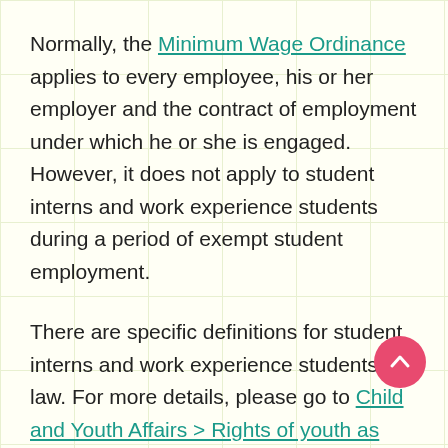Normally, the Minimum Wage Ordinance applies to every employee, his or her employer and the contract of employment under which he or she is engaged. However, it does not apply to student interns and work experience students during a period of exempt student employment.
There are specific definitions for student interns and work experience students in law. For more details, please go to Child and Youth Affairs > Rights of youth as employee > Internship.